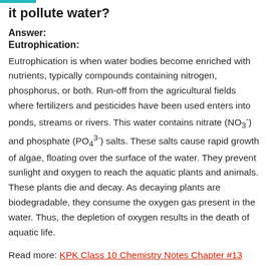it pollute water?
Answer:
Eutrophication:
Eutrophication is when water bodies become enriched with nutrients, typically compounds containing nitrogen, phosphorus, or both. Run-off from the agricultural fields where fertilizers and pesticides have been used enters into ponds, streams or rivers. This water contains nitrate (NO3-) and phosphate (PO4 3-) salts. These salts cause rapid growth of algae, floating over the surface of the water. They prevent sunlight and oxygen to reach the aquatic plants and animals. These plants die and decay. As decaying plants are biodegradable, they consume the oxygen gas present in the water. Thus, the depletion of oxygen results in the death of aquatic life.
Read more: KPK Class 10 Chemistry Notes Chapter #13